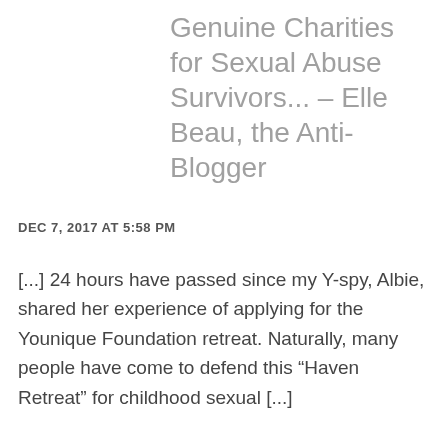Genuine Charities for Sexual Abuse Survivors... – Elle Beau, the Anti-Blogger
DEC 7, 2017 AT 5:58 PM
[...] 24 hours have passed since my Y-spy, Albie, shared her experience of applying for the Younique Foundation retreat. Naturally, many people have come to defend this “Haven Retreat” for childhood sexual [...]